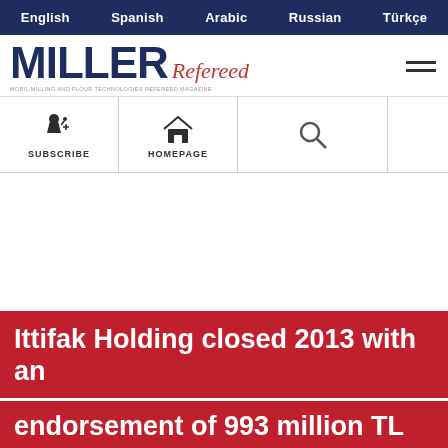English  Spanish  Arabic  Russian  Türkçe
[Figure (logo): MILLER Refereed magazine logo with tagline]
[Figure (infographic): Navigation bar with SUBSCRIBE and HOMEPAGE icons and search magnifying glass]
Ittifak Holding closed 2013 with an endorsement of 993 million TL